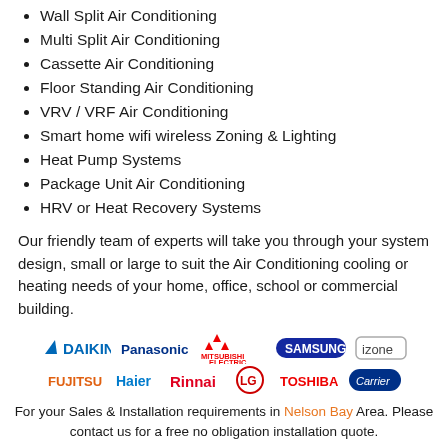Wall Split Air Conditioning
Multi Split Air Conditioning
Cassette Air Conditioning
Floor Standing Air Conditioning
VRV / VRF Air Conditioning
Smart home wifi wireless Zoning & Lighting
Heat Pump Systems
Package Unit Air Conditioning
HRV or Heat Recovery Systems
Our friendly team of experts will take you through your system design, small or large to suit the Air Conditioning cooling or heating needs of your home, office, school or commercial building.
[Figure (logo): Brand logos: Daikin, Panasonic, Mitsubishi Electric, Samsung, izone, Fujitsu, Haier, Rinnai, LG, Toshiba, Carrier]
For your Sales & Installation requirements in Nelson Bay Area. Please contact us for a free no obligation installation quote.